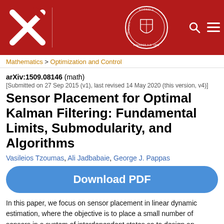[Figure (logo): arXiv and Cornell University header with red background, arXiv logo on left, Cornell University seal in center-right, search and menu icons on far right]
Mathematics > Optimization and Control
arXiv:1509.08146 (math)
[Submitted on 27 Sep 2015 (v1), last revised 14 May 2020 (this version, v4)]
Sensor Placement for Optimal Kalman Filtering: Fundamental Limits, Submodularity, and Algorithms
Vasileios Tzoumas, Ali Jadbabaie, George J. Pappas
Download PDF
In this paper, we focus on sensor placement in linear dynamic estimation, where the objective is to place a small number of sensors in a system of interdependent states so to design an estimator with a desired estimation performance. In particular, we consider a linear time-variant system that is corrupted with process and measurement noise, and study how the selection of its sensors affects the